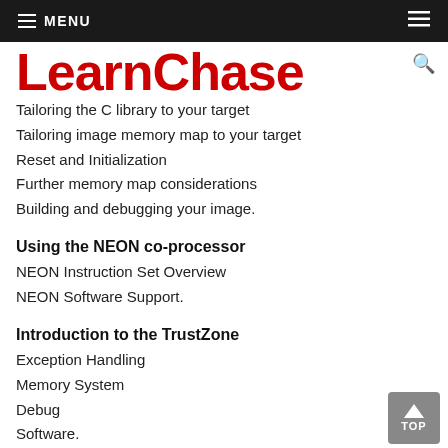MENU
LearnChase
Tailoring the C library to your target
Tailoring image memory map to your target
Reset and Initialization
Further memory map considerations
Building and debugging your image.
Using the NEON co-processor
NEON Instruction Set Overview
NEON Software Support.
Introduction to the TrustZone
Exception Handling
Memory System
Debug
Software.